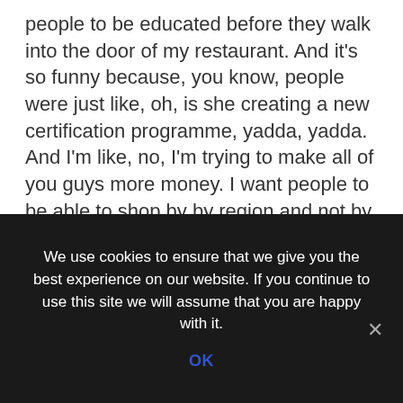people to be educated before they walk into the door of my restaurant. And it's so funny because, you know, people were just like, oh, is she creating a new certification programme, yadda, yadda. And I'm like, no, I'm trying to make all of you guys more money. I want people to be able to shop by by region and not by brand. Does that make sense? I must say yeah. And to be able to communicate with professionals in a way where they can find them new fun things that they'll like and not have them beholden to the system of PR companies that you're winery's that can afford PR companies. Right. And sell their brand. You really have to have a it's like it's like having a driver's licence,
We use cookies to ensure that we give you the best experience on our website. If you continue to use this site we will assume that you are happy with it.
OK